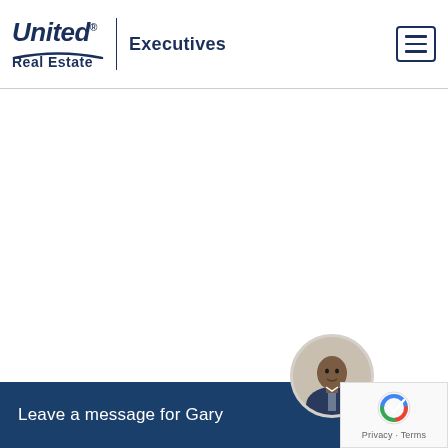[Figure (logo): United Real Estate logo with arc underline and 'Executives' text beside vertical divider, plus hamburger menu button]
Leave a message for Gary